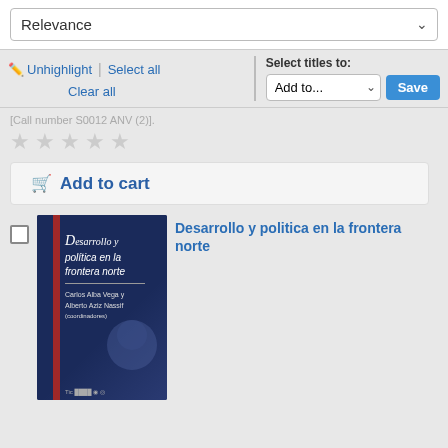Relevance
Unhighlight | Select all | Clear all | Select titles to: Add to... Save
[Call number S0012 ANV (2)].
[Figure (other): Five empty star rating icons]
Add to cart
[Figure (photo): Book cover for 'Desarrollo y politica en la frontera norte', dark blue background with red spine, authors Carlos Alba Vega y Alberto Aziz Nassif]
Desarrollo y politica en la frontera norte